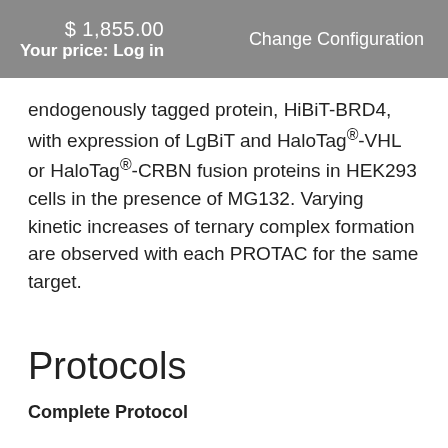$ 1,855.00  Your price: Log in  Change Configuration
endogenously tagged protein, HiBiT-BRD4, with expression of LgBiT and HaloTag®-VHL or HaloTag®-CRBN fusion proteins in HEK293 cells in the presence of MG132. Varying kinetic increases of ternary complex formation are observed with each PROTAC for the same target.
Protocols
Complete Protocol